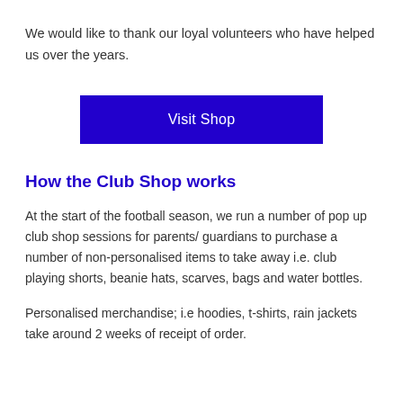We would like to thank our loyal volunteers who have helped us over the years.
[Figure (other): Blue rectangular button labeled 'Visit Shop']
How the Club Shop works
At the start of the football season, we run a number of pop up club shop sessions for parents/ guardians to purchase a number of non-personalised items to take away i.e. club playing shorts, beanie hats, scarves, bags and water bottles.
Personalised merchandise; i.e hoodies, t-shirts, rain jackets take around 2 weeks of receipt of order.